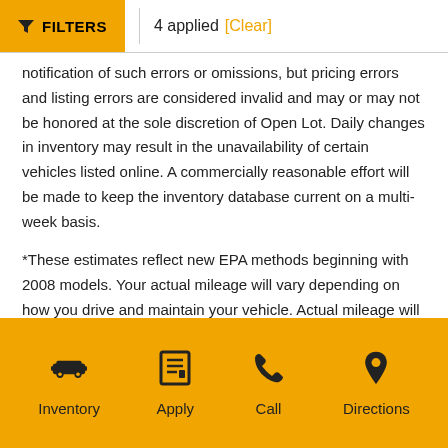FILTERS  4 applied [Clear]
notification of such errors or omissions, but pricing errors and listing errors are considered invalid and may or may not be honored at the sole discretion of Open Lot. Daily changes in inventory may result in the unavailability of certain vehicles listed online. A commercially reasonable effort will be made to keep the inventory database current on a multi-week basis.
*These estimates reflect new EPA methods beginning with 2008 models. Your actual mileage will vary depending on how you drive and maintain your vehicle. Actual mileage will vary with options, driving conditions, driving habits and vehicle’s condition. Mileage estimates may be derived from previous year model.
Inventory  Apply  Call  Directions